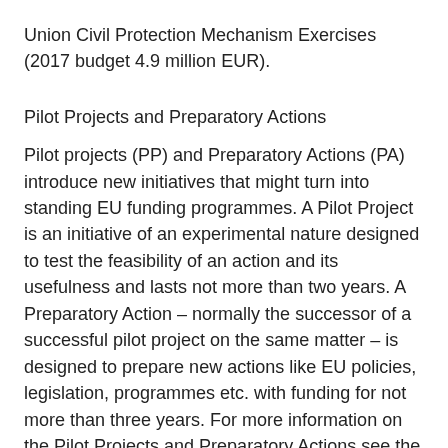Union Civil Protection Mechanism Exercises (2017 budget 4.9 million EUR).
Pilot Projects and Preparatory Actions
Pilot projects (PP) and Preparatory Actions (PA) introduce new initiatives that might turn into standing EU funding programmes. A Pilot Project is an initiative of an experimental nature designed to test the feasibility of an action and its usefulness and lasts not more than two years. A Preparatory Action – normally the successor of a successful pilot project on the same matter – is designed to prepare new actions like EU policies, legislation, programmes etc. with funding for not more than three years. For more information on the Pilot Projects and Preparatory Actions see the annual report on pilot projects and preparatory actions.